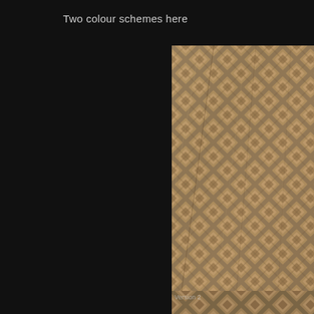Two colour schemes here
[Figure (photo): Close-up photograph of a metallic diamond-plate texture with raised square/rhombus pattern in warm brown/bronze/tan tones, aged and slightly rusty. Version 1.]
Version 1
[Figure (photo): Close-up photograph of a metallic diamond-plate texture similar to Version 1, partially visible at bottom of page. Version 2.]